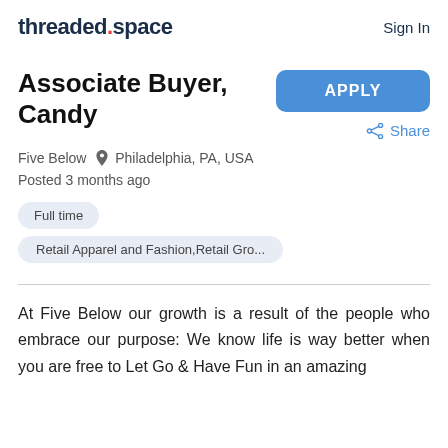threaded.space  Sign In
Associate Buyer, Candy
Five Below  Philadelphia, PA, USA
Posted 3 months ago
Full time
Retail Apparel and Fashion,Retail Gro...
At Five Below our growth is a result of the people who embrace our purpose: We know life is way better when you are free to Let Go & Have Fun in an amazing